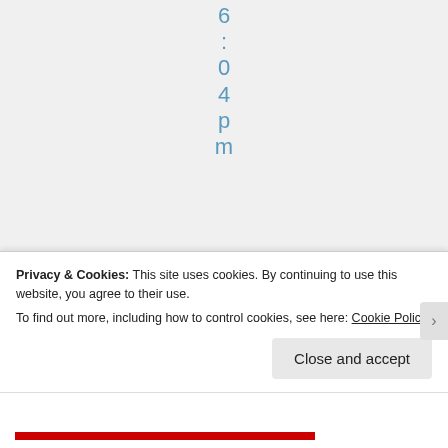6:04pm
Goodfor
Privacy & Cookies: This site uses cookies. By continuing to use this website, you agree to their use. To find out more, including how to control cookies, see here: Cookie Policy
Close and accept